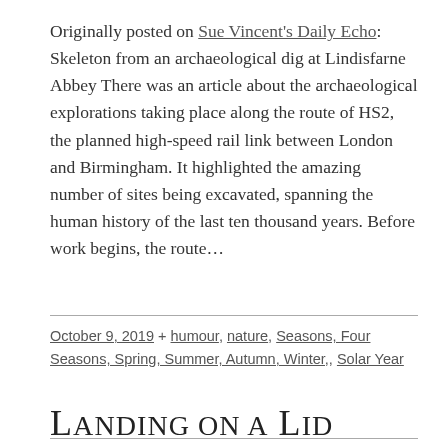Originally posted on Sue Vincent's Daily Echo: Skeleton from an archaeological dig at Lindisfarne Abbey There was an article about the archaeological explorations taking place along the route of HS2, the planned high-speed rail link between London and Birmingham. It highlighted the amazing number of sites being excavated, spanning the human history of the last ten thousand years. Before work begins, the route...
October 9, 2019 + humour, nature, Seasons, Four Seasons, Spring, Summer, Autumn, Winter,, Solar Year
Landing on a lid near